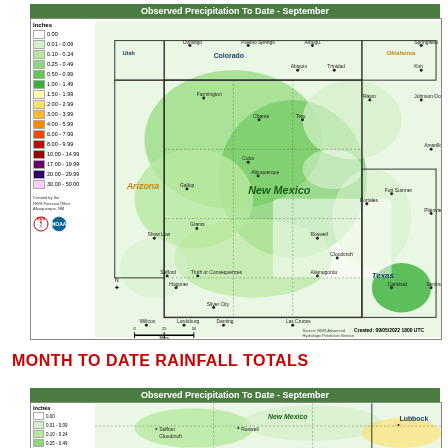[Figure (map): Observed Precipitation To Date - September map showing New Mexico and surrounding states (Arizona, Colorado, Utah, Texas, Oklahoma) with color-coded precipitation values ranging from 0.00 inches (white) to 30.00-50.00 inches (pink). Green shading dominates showing 0.01 to 1.49 inch ranges across the region. Created 09/05/2022 1800 UTC by NWS Advanced Hydrologic Prediction Service.]
MONTH TO DATE RAINFALL TOTALS
[Figure (map): Observed Precipitation To Date - September map (partial/cropped view) showing eastern New Mexico, Lubbock Texas area with precipitation color coding. Legend shows Inches categories starting from 0.00 (white), 0.01-0.09, 0.10-0.24, 0.25-0.49.]